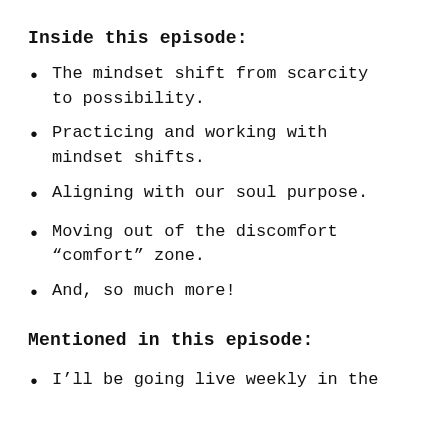Inside this episode:
The mindset shift from scarcity to possibility.
Practicing and working with mindset shifts.
Aligning with our soul purpose.
Moving out of the discomfort “comfort” zone.
And, so much more!
Mentioned in this episode:
I’ll be going live weekly in the